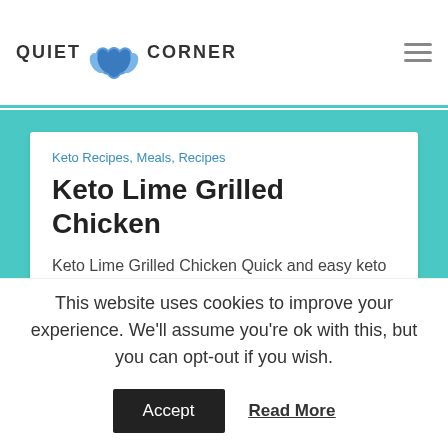QUIET CORNER
Keto Recipes, Meals, Recipes
Keto Lime Grilled Chicken
Keto Lime Grilled Chicken Quick and easy keto lime grilled chicken that's just packed with Flavor! This taco lime grilled chicken is [...]
2 years ago  ♥ 62  💬 0
[Figure (photo): Food photo showing grilled chicken with vegetables]
This website uses cookies to improve your experience. We'll assume you're ok with this, but you can opt-out if you wish.